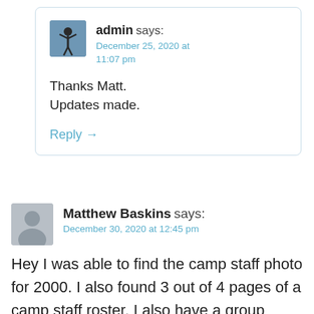[Figure (other): Admin user avatar thumbnail showing a person with arms raised]
admin says:
December 25, 2020 at 11:07 pm
Thanks Matt. Updates made.
Reply →
[Figure (other): Generic grey person silhouette avatar for Matthew Baskins]
Matthew Baskins says:
December 30, 2020 at 12:45 pm
Hey I was able to find the camp staff photo for 2000. I also found 3 out of 4 pages of a camp staff roster. I also have a group photo